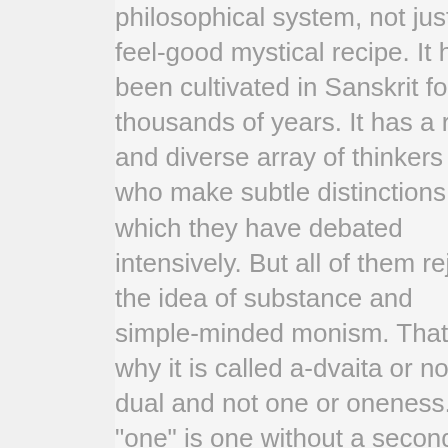philosophical system, not just a feel-good mystical recipe. It has been cultivated in Sanskrit for thousands of years. It has a rich and diverse array of thinkers who make subtle distinctions which they have debated intensively. But all of them reject the idea of substance and simple-minded monism. That is why it is called a-dvaita or non-dual and not one or oneness. Its "one" is one without a second or ekam eva advitiyam. To equate it with "All is One" simplicity is a category error. Sanskrit has crystal clear diction too and is not always amenable to precise translation without loss of clarity. That is why all serious students of Indian philosophy, of which nondualism is a part, get